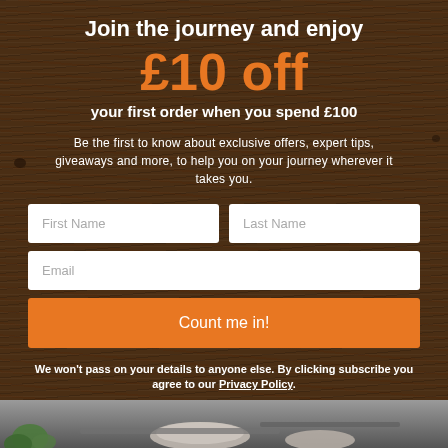Join the journey and enjoy
£10 off
your first order when you spend £100
Be the first to know about exclusive offers, expert tips, giveaways and more, to help you on your journey wherever it takes you.
First Name | Last Name | Email | Count me in!
We won't pass on your details to anyone else. By clicking subscribe you agree to our Privacy Policy.
*First-time purchase only. Discount codes are one use per customer and cannot be combined with any other sales, offers or promotions. Discounts cannot be applied to gift cards or past purchases.
[Figure (photo): Bottom section showing outdoor/travel gear on a table with green plants visible]